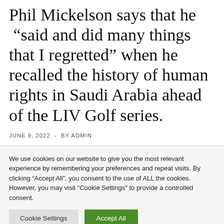Phil Mickelson says that he “said and did many things that I regretted” when he recalled the history of human rights in Saudi Arabia ahead of the LIV Golf series.
JUNE 9, 2022  -  BY ADMIN
We use cookies on our website to give you the most relevant experience by remembering your preferences and repeat visits. By clicking “Accept All”, you consent to the use of ALL the cookies. However, you may visit "Cookie Settings" to provide a controlled consent.